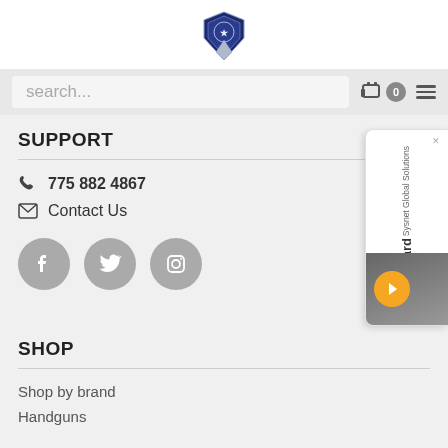[Figure (logo): Police/government shield badge logo centered at top]
search...
SUPPORT
775 882 4867
Contact Us
[Figure (illustration): Social media icons: Facebook, Twitter, Instagram in grey circles]
[Figure (illustration): Sysnet Global Solutions Assurance Card advertisement on right side]
SHOP
Shop by brand
Handguns